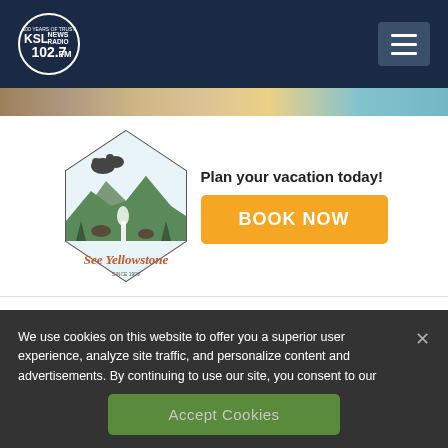KSL NewsRadio 102.7FM — 100 Years of Trust
[Figure (logo): See Yellowstone advertisement banner with logo and 'Plan your vacation today! BOOK NOW' button]
We use cookies on this website to offer you a superior user experience, analyze site traffic, and personalize content and advertisements. By continuing to use our site, you consent to our use of cookies. Please visit our Privacy Policy for more information.
Accept Cookies